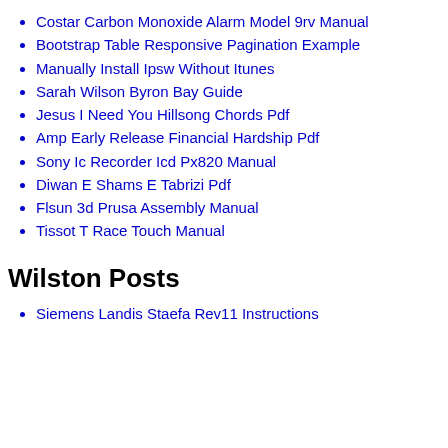Costar Carbon Monoxide Alarm Model 9rv Manual
Bootstrap Table Responsive Pagination Example
Manually Install Ipsw Without Itunes
Sarah Wilson Byron Bay Guide
Jesus I Need You Hillsong Chords Pdf
Amp Early Release Financial Hardship Pdf
Sony Ic Recorder Icd Px820 Manual
Diwan E Shams E Tabrizi Pdf
Flsun 3d Prusa Assembly Manual
Tissot T Race Touch Manual
Wilston Posts
Siemens Landis Staefa Rev11 Instructions